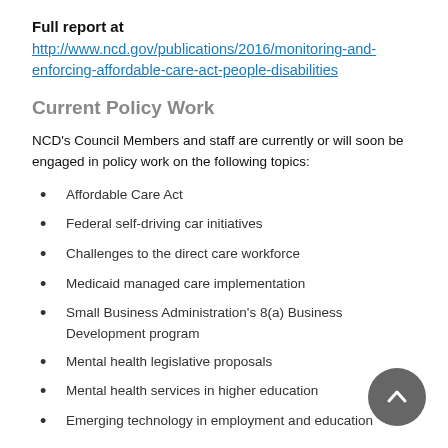Full report at
http://www.ncd.gov/publications/2016/monitoring-and-enforcing-affordable-care-act-people-disabilities
Current Policy Work
NCD's Council Members and staff are currently or will soon be engaged in policy work on the following topics:
Affordable Care Act
Federal self-driving car initiatives
Challenges to the direct care workforce
Medicaid managed care implementation
Small Business Administration's 8(a) Business Development program
Mental health legislative proposals
Mental health services in higher education
Emerging technology in employment and education